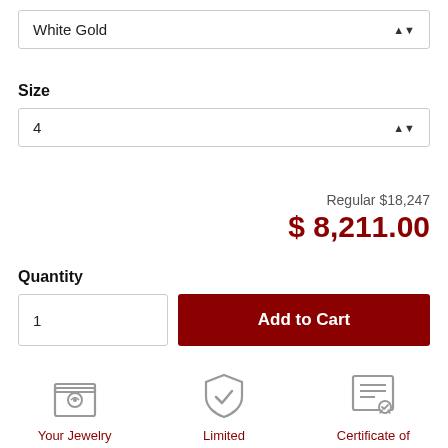White Gold
Size
4
Regular $18,247
$ 8,211.00
Quantity
1
Add to Cart
Your Jewelry Piece Includes
Limited Lifetime Warranty
Certificate of Authenticity